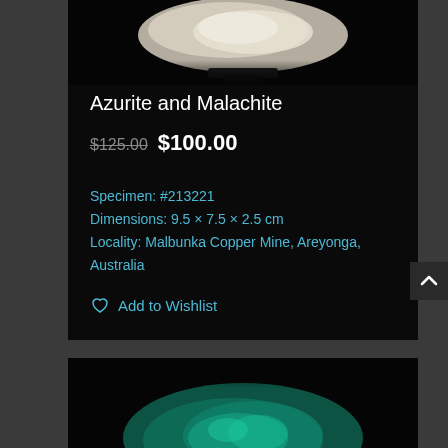[Figure (photo): White/cream colored mineral specimen (Azurite and Malachite) photographed against black background, top portion of image visible]
Azurite and Malachite
$125.00 $100.00
Specimen: #213221
Dimensions: 9.5 × 7.5 × 2.5 cm
Locality: Malbunka Copper Mine, Areyonga, Australia
Add to Wishlist
[Figure (photo): Teal/green colored mineral specimen (likely Malachite) photographed against black background, bottom portion visible]